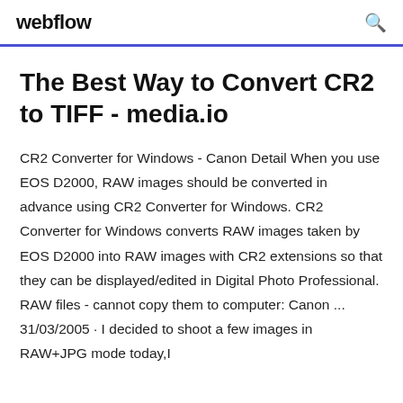webflow
The Best Way to Convert CR2 to TIFF - media.io
CR2 Converter for Windows - Canon Detail When you use EOS D2000, RAW images should be converted in advance using CR2 Converter for Windows. CR2 Converter for Windows converts RAW images taken by EOS D2000 into RAW images with CR2 extensions so that they can be displayed/edited in Digital Photo Professional. RAW files - cannot copy them to computer: Canon ... 31/03/2005 · I decided to shoot a few images in RAW+JPG mode today,I